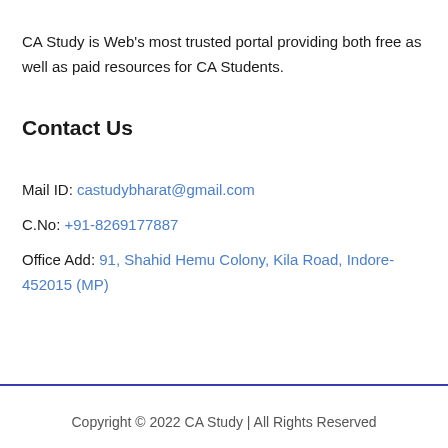CA Study is Web's most trusted portal providing both free as well as paid resources for CA Students.
Contact Us
Mail ID: castudybharat@gmail.com
C.No: +91-8269177887
Office Add: 91, Shahid Hemu Colony, Kila Road, Indore-452015 (MP)
Copyright © 2022 CA Study | All Rights Reserved